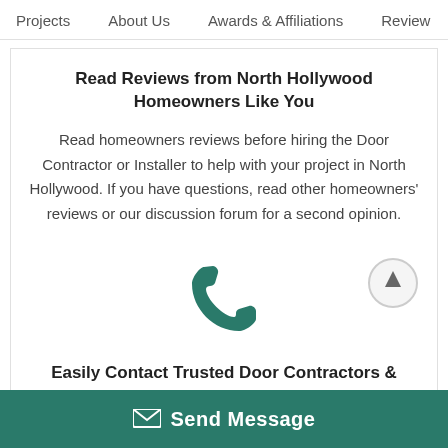Projects   About Us   Awards & Affiliations   Review
Read Reviews from North Hollywood Homeowners Like You
Read homeowners reviews before hiring the Door Contractor or Installer to help with your project in North Hollywood. If you have questions, read other homeowners' reviews or our discussion forum for a second opinion.
[Figure (illustration): Telephone handset icon in teal/dark green color]
Easily Contact Trusted Door Contractors &
[Figure (illustration): Circular scroll-to-top button with upward arrow]
Send Message